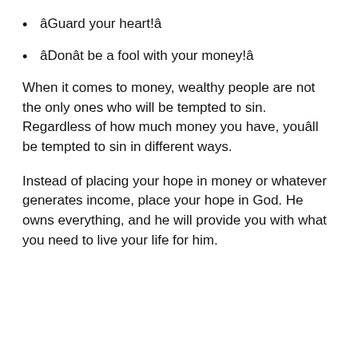âGuard your heart!â
âDonât be a fool with your money!â
When it comes to money, wealthy people are not the only ones who will be tempted to sin. Regardless of how much money you have, youâll be tempted to sin in different ways.
Instead of placing your hope in money or whatever generates income, place your hope in God. He owns everything, and he will provide you with what you need to live your life for him.